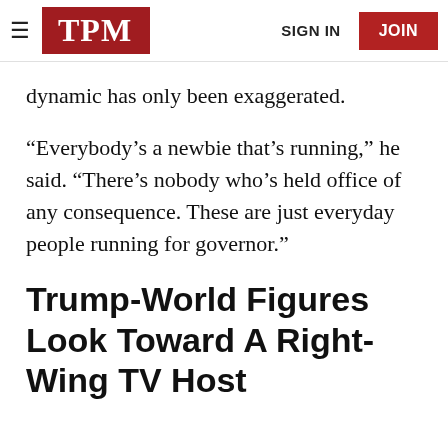TPM | SIGN IN | JOIN
dynamic has only been exaggerated.
“Everybody’s a newbie that’s running,” he said. “There’s nobody who’s held office of any consequence. These are just everyday people running for governor.”
Trump-World Figures Look Toward A Right-Wing TV Host